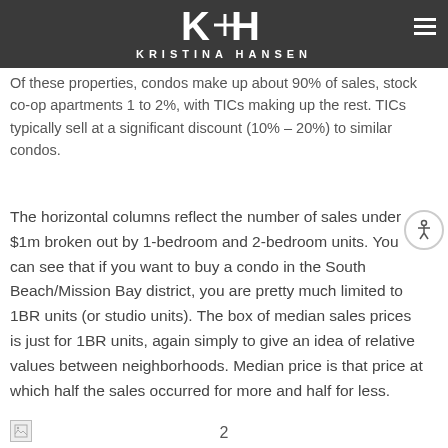KH KRISTINA HANSEN
project condo sales do not.
Of these properties, condos make up about 90% of sales, stock co-op apartments 1 to 2%, with TICs making up the rest. TICs typically sell at a significant discount (10% – 20%) to similar condos.
The horizontal columns reflect the number of sales under $1m broken out by 1-bedroom and 2-bedroom units. You can see that if you want to buy a condo in the South Beach/Mission Bay district, you are pretty much limited to 1BR units (or studio units). The box of median sales prices is just for 1BR units, again simply to give an idea of relative values between neighborhoods. Median price is that price at which half the sales occurred for more and half for less.
2